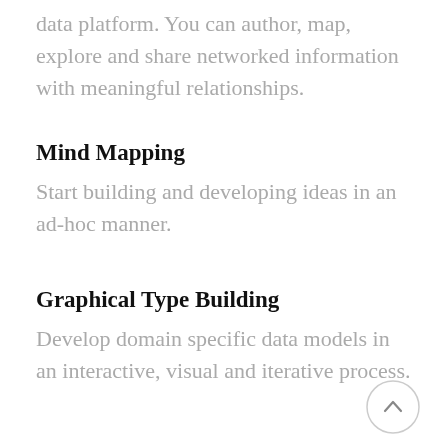data platform. You can author, map, explore and share networked information with meaningful relationships.
Mind Mapping
Start building and developing ideas in an ad-hoc manner.
Graphical Type Building
Develop domain specific data models in an interactive, visual and iterative process.
[Figure (other): A circular scroll-up navigation button with an upward-pointing chevron arrow, positioned at the bottom right of the page.]